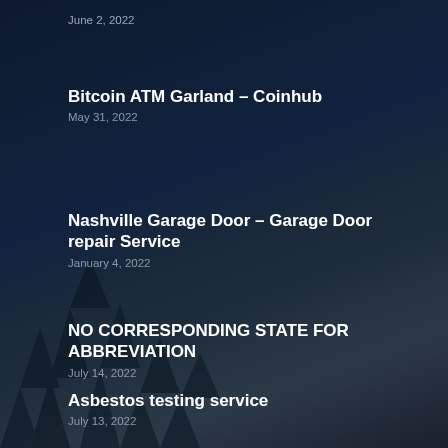June 2, 2022
Bitcoin ATM Garland – Coinhub
May 31, 2022
Nashville Garage Door – Garage Door repair Service
January 4, 2022
NO CORRESPONDING STATE FOR ABBREVIATION
July 14, 2022
Asbestos testing service
July 13, 2022